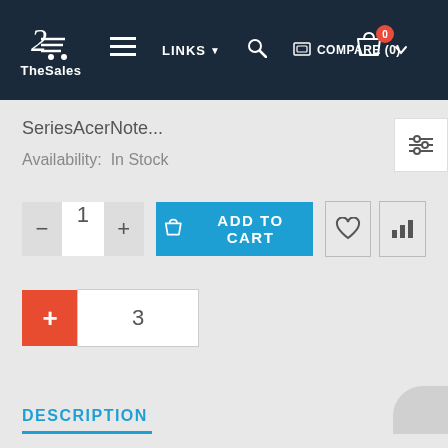TheSales — LINKS — COMPARE (0) — Cart (0)
SeriesAcerNote...
Availability:  In Stock
— 1 + ADD TO CART ♡ chart-icon
+ 3
DESCRIPTION